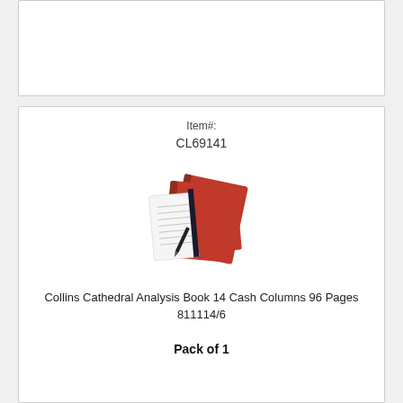[Figure (other): Empty white product card placeholder at top of page]
Item#:
CL69141
[Figure (photo): Photo of red Collins Cathedral analysis books open with a pen on the pages]
Collins Cathedral Analysis Book 14 Cash Columns 96 Pages 811114/6
Pack of 1